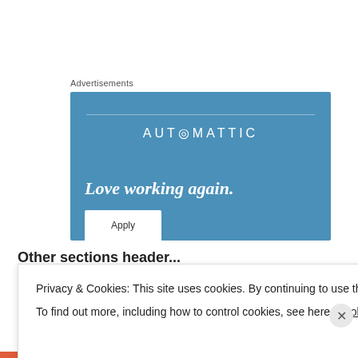Advertisements
[Figure (illustration): Automattic advertisement banner with blue background showing the Automattic logo at top, tagline 'Love working again.' in italic white text, and an 'Apply' button at the bottom left.]
Other sections header (partially visible)
Privacy & Cookies: This site uses cookies. By continuing to use this website, you agree to their use.
To find out more, including how to control cookies, see here: Cookie Policy
Close and accept